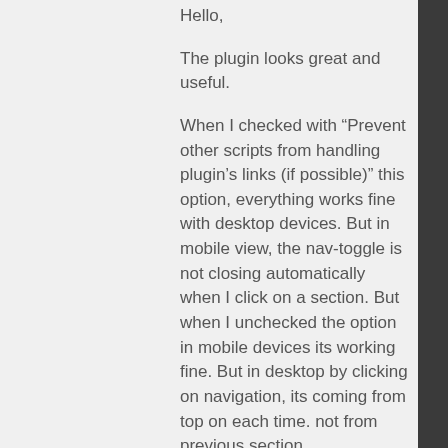Hello,
The plugin looks great and useful.
When I checked with “Prevent other scripts from handling plugin’s links (if possible)” this option, everything works fine with desktop devices. But in mobile view, the nav-toggle is not closing automatically when I click on a section. But when I unchecked the option in mobile devices its working fine. But in desktop by clicking on navigation, its coming from top on each time. not from previous section.
Can you please explain me